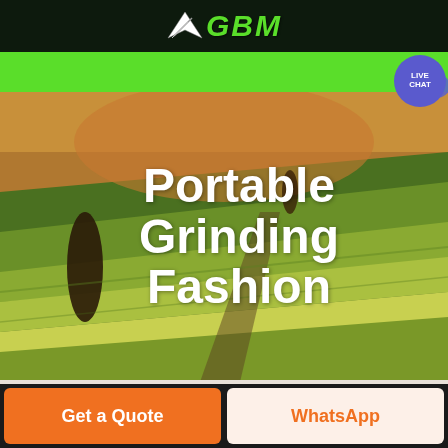[Figure (logo): GBM company logo with green arrow/blade graphic and green bold italic text 'GBM' on dark background]
[Figure (screenshot): Green navigation bar with white hamburger menu icon and blue circular live chat button with chat bubble icon]
[Figure (photo): Aerial view of agricultural fields with rolling green and yellow-brown terrain, dark tree silhouettes]
Portable Grinding Fashion
Get a Quote
WhatsApp